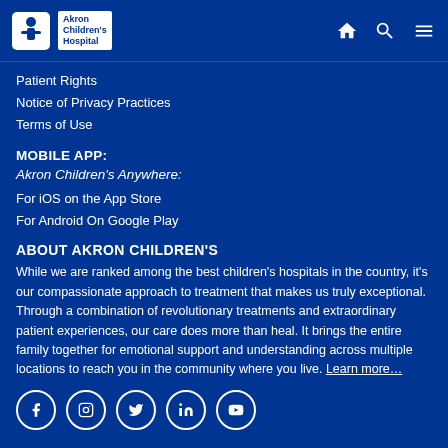Akron Children's Hospital — navigation header with logo and icons
Patient Rights
Notice of Privacy Practices
Terms of Use
MOBILE APP:
Akron Children's Anywhere:
For iOS on the App Store
For Android On Google Play
ABOUT AKRON CHILDREN'S
While we are ranked among the best children's hospitals in the country, it's our compassionate approach to treatment that makes us truly exceptional. Through a combination of revolutionary treatments and extraordinary patient experiences, our care does more than heal. It brings the entire family together for emotional support and understanding across multiple locations to reach you in the community where you live. Learn more…
[Figure (other): Social media icons row: Facebook, Instagram, Twitter, LinkedIn, YouTube — white circle outlines on blue background]